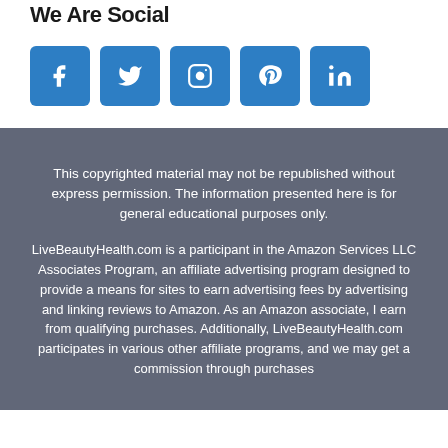We Are Social
[Figure (illustration): Five social media icon buttons in blue: Facebook (f), Twitter (bird), Instagram (camera), Pinterest (P), LinkedIn (in)]
This copyrighted material may not be republished without express permission. The information presented here is for general educational purposes only.
LiveBeautyHealth.com is a participant in the Amazon Services LLC Associates Program, an affiliate advertising program designed to provide a means for sites to earn advertising fees by advertising and linking reviews to Amazon. As an Amazon associate, I earn from qualifying purchases. Additionally, LiveBeautyHealth.com participates in various other affiliate programs, and we may get a commission through purchases